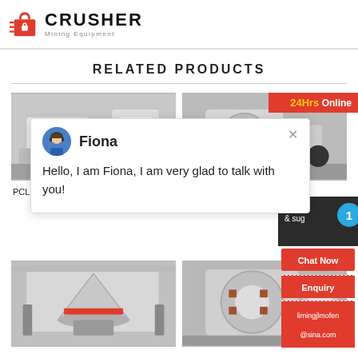[Figure (logo): Crusher Mining Equipment logo with red shopping bag icon and bold text]
RELATED PRODUCTS
[Figure (photo): PCL Sand Making Machine product photo]
[Figure (photo): VSI5X Impact crusher product photo with 24Hrs Online badge]
PCL Sand Making Machine
VSI5X Impa...
[Figure (screenshot): Chat popup with Fiona avatar: Hello, I am Fiona, I am very glad to talk with you!]
[Figure (infographic): Sidebar panel: Need help, 1 badge, Chat Now button, Enquiry, limingjlmofen@sina.com]
[Figure (photo): Bottom left product photo - crusher machine]
[Figure (photo): Bottom right product photo - crusher machine]